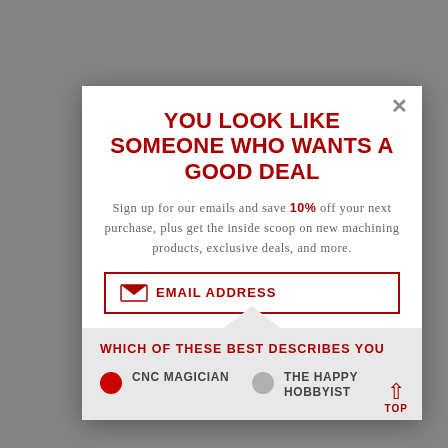YOU LOOK LIKE SOMEONE WHO WANTS A GOOD DEAL
Sign up for our emails and save 10% off your next purchase, plus get the inside scoop on new machining products, exclusive deals, and more.
EMAIL ADDRESS
WHICH OF THESE BEST DESCRIBES YOU
CNC MAGICIAN
THE HAPPY HOBBYIST